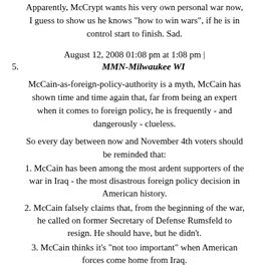Apparently, McCrypt wants his very own personal war now, I guess to show us he knows "how to win wars", if he is in control start to finish. Sad.
August 12, 2008 01:08 pm at 1:08 pm |
5.  MMN-Milwaukee WI
McCain-as-foreign-policy-authority is a myth, McCain has shown time and time again that, far from being an expert when it comes to foreign policy, he is frequently - and dangerously - clueless.
So every day between now and November 4th voters should be reminded that:
1. McCain has been among the most ardent supporters of the war in Iraq - the most disastrous foreign policy decision in American history.
2. McCain falsely claims that, from the beginning of the war, he called on former Secretary of Defense Rumsfeld to resign. He should have, but he didn't.
3. McCain thinks it's "not too important" when American forces come home from Iraq.
4. McCain has repeatedly claimed that Iran was training members of al-Qaeda in Iraq, showing a fundamental misunderstanding of the key players in the war. He doesn't understand the difference between Shiites and Sunnis, and